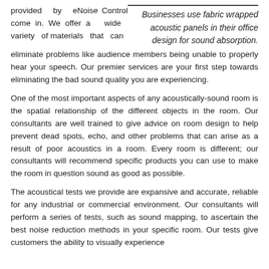provided by eNoise Control come in. We offer a wide variety of materials that can eliminate problems like audience members being unable to properly hear your speech. Our premier services are your first step towards eliminating the bad sound quality you are experiencing.
Businesses use fabric wrapped acoustic panels in their office design for sound absorption.
One of the most important aspects of any acoustically-sound room is the spatial relationship of the different objects in the room. Our consultants are well trained to give advice on room design to help prevent dead spots, echo, and other problems that can arise as a result of poor acoustics in a room. Every room is different; our consultants will recommend specific products you can use to make the room in question sound as good as possible.
The acoustical tests we provide are expansive and accurate, reliable for any industrial or commercial environment. Our consultants will perform a series of tests, such as sound mapping, to ascertain the best noise reduction methods in your specific room. Our tests give customers the ability to visually experience